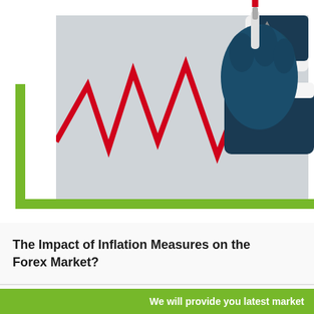[Figure (illustration): Illustration of a hand in a dark blue suit sleeve holding a red marker/pen, drawing an upward red arrow on a line chart with zigzag pattern. The chart background is light gray. A green L-shaped bracket frames the lower-left of the image area.]
The Impact of Inflation Measures on the Forex Market?
Inflation has historically been a major
We will provide you latest market